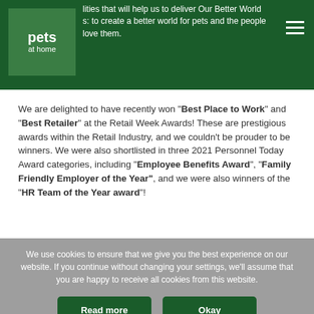initiatives that will help us to deliver Our Better World ambitions: to create a better world for pets and the people who love them.
[Figure (logo): Pets at Home logo - white text on dark green background]
We are delighted to have recently won "Best Place to Work" and "Best Retailer" at the Retail Week Awards! These are prestigious awards within the Retail Industry, and we couldn't be prouder to be winners. We were also shortlisted in three 2021 Personnel Today Award categories, including "Employee Benefits Award", "Family Friendly Employer of the Year", and we were also winners of the "HR Team of the Year award"!
We use cookies to ensure that we give you the best experience on our website. If you continue without changing your settings, we'll assume that you are happy to receive all cookies from this website.